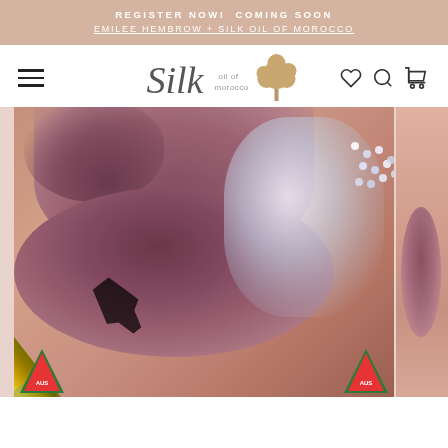REGISTER NOW! COMING SOON
EMILEE HEMBROW + SILK OIL OF MOROCCO
[Figure (logo): Silk Oil of Morocco logo with stylized text and argan tree silhouette]
[Figure (photo): Close-up of matte mauve/dusty rose lipstick on lips with a gold rhinestone-encrusted lipstick tube, and a partial second product on the right edge. Australian badge triangles visible at the bottom.]